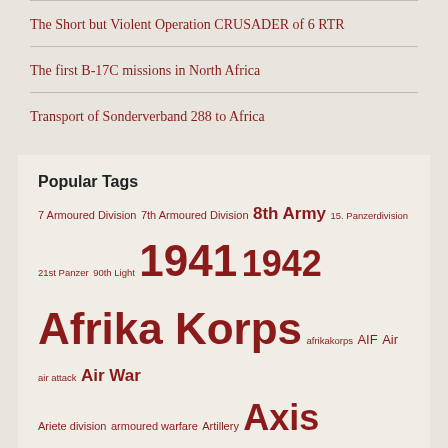The Short but Violent Operation CRUSADER of 6 RTR
The first B-17C missions in North Africa
Transport of Sonderverband 288 to Africa
Popular Tags
7 Armoured Division 7th Armoured Division 8th Army 15. Panzerdivision 21st Panzer 90th Light 1941 1942 Afrika Korps afrikakorps AIF Air air attack Air War Ariete division armoured warfare Artillery Axis forces Books Commonwealth forces convoy attack Convoys Desert Air Force Desert Rats desertwar Desert War eighth army empire forces German forces Ground forces intelligence